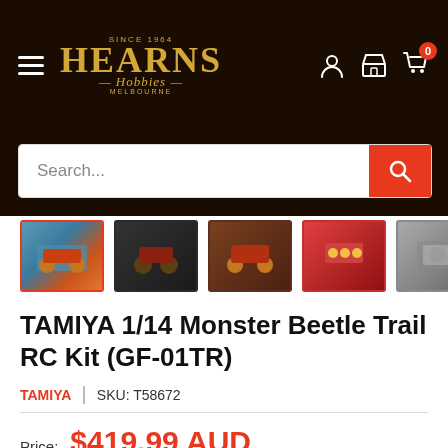[Figure (logo): Hearns Hobbies Melbourne logo in gold/amber on dark brown background with hamburger menu and user/store/cart icons]
[Figure (screenshot): Search bar with orange search button]
[Figure (photo): Five product thumbnail images of the TAMIYA Monster Beetle Trail RC Kit, first one selected with orange border]
TAMIYA 1/14 Monster Beetle Trail RC Kit (GF-01TR)
TAMIYA | SKU: T58672
Price: $419.99 AUD